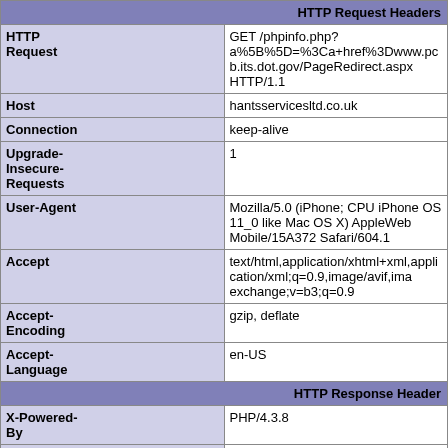|  | HTTP Request Headers |
| --- | --- |
| HTTP Request | GET /phpinfo.php? a%5B%5D=%3Ca+href%3Dwww.pcb.its.dot.gov/PageRedirect.aspx HTTP/1.1 |
| Host | hantsservicesltd.co.uk |
| Connection | keep-alive |
| Upgrade-Insecure-Requests | 1 |
| User-Agent | Mozilla/5.0 (iPhone; CPU iPhone OS 11_0 like Mac OS X) AppleWebKit Mobile/15A372 Safari/604.1 |
| Accept | text/html,application/xhtml+xml,application/xml;q=0.9,image/avif,image exchange;v=b3;q=0.9 |
| Accept-Encoding | gzip, deflate |
| Accept-Language | en-US |
| HTTP Response Headers |  |
| X-Powered-By | PHP/4.3.8 |
| Keep-Alive | timeout=15, max=100 |
| Connection | Keep-Alive |
| Transfer-Encoding | chunked |
| Content- | text/html |